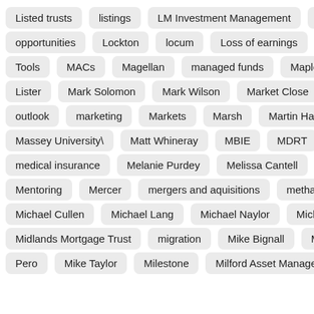Listed trusts
listings
LM Investment Management
Loan M…
opportunities
Lockton
locum
Loss of earnings
LVR
M…
Tools
MACs
Magellan
managed funds
Maple-Brown Ab…
Lister
Mark Solomon
Mark Wilson
Market Close
Marke…
outlook
marketing
Markets
Marsh
Martin Hawes
MA…
Massey University\
Matt Whineray
MBIE
MDRT
media…
medical insurance
Melanie Purdey
Melissa Cantell
Melis…
Mentoring
Mercer
mergers and aquisitions
methamphetam…
Michael Cullen
Michael Lang
Michael Naylor
Michael Re…
Midlands Mortgage Trust
migration
Mike Bignall
Mike Frik…
Pero
Mike Taylor
Milestone
Milford Asset Management